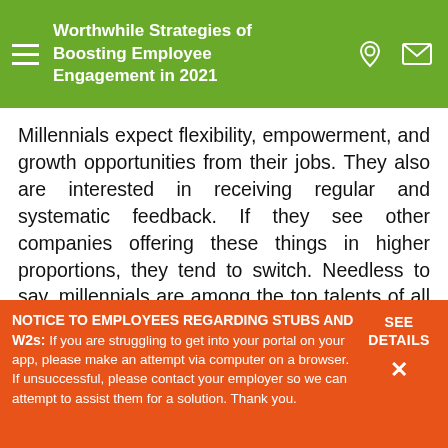Worthwhile Strategies of Boosting Employee Engagement in 2021
Millennials expect flexibility, empowerment, and growth opportunities from their jobs. They also are interested in receiving regular and systematic feedback. If they see other companies offering these things in higher proportions, they tend to switch. Needless to say, millennials are among the top talents of all organizations. To engage them and to get the best out of them, organizations should have special policies. Companies should understand their requirements and deliver
NOTICE TO EMPLOYEES REGARDING STUBS AND W2s: If you are struggling to get into your portal on your app, please make an attempt via computer on a browser. If unsuccessful, please contact your employer so we can attempt to assist them for a solution. Thank you.